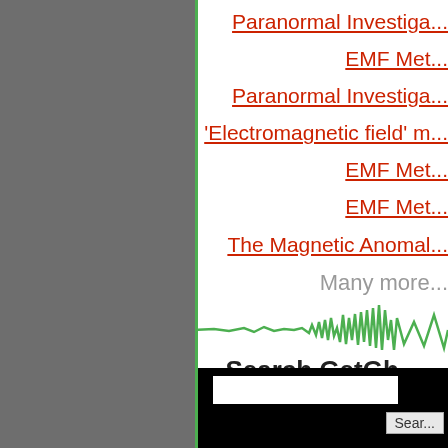Paranormal Investiga...
EMF Met...
Paranormal Investiga...
'Electromagnetic field' m...
EMF Met...
EMF Met...
The Magnetic Anomal...
Many more...
[Figure (illustration): Green EMF/magnetic waveform line chart showing a relatively flat line on the left that becomes increasingly jagged and erratic toward the right side]
Search GetGh...
[Figure (screenshot): Search bar with white input field and Search button on black background]